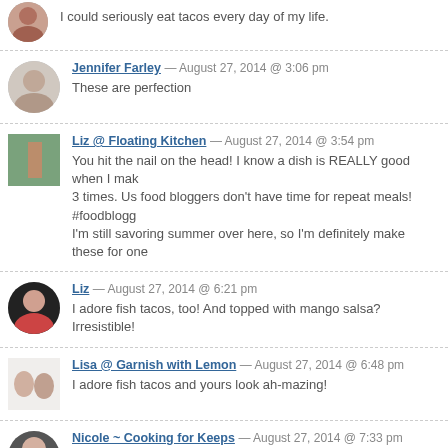I could seriously eat tacos every day of my life.
Jennifer Farley — August 27, 2014 @ 3:06 pm
These are perfection
Liz @ Floating Kitchen — August 27, 2014 @ 3:54 pm
You hit the nail on the head! I know a dish is REALLY good when I make it 3 times. Us food bloggers don't have time for repeat meals! #foodblogg... I'm still savoring summer over here, so I'm definitely make these for one...
Liz — August 27, 2014 @ 6:21 pm
I adore fish tacos, too! And topped with mango salsa? Irresistible!
Lisa @ Garnish with Lemon — August 27, 2014 @ 6:48 pm
I adore fish tacos and yours look ah-mazing!
Nicole ~ Cooking for Keeps — August 27, 2014 @ 7:33 pm
Soooo with you. It is not time for pumpkin. I just can't do it. Meals like th... my life for at least three more weeks! Beautiful!